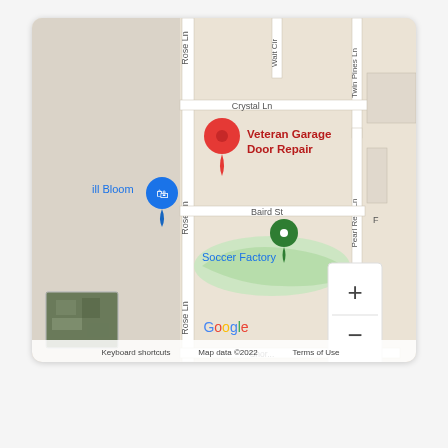[Figure (map): Google Maps screenshot showing the location of Veteran Garage Door Repair near Rose Ln, Crystal Ln, Baird St, Twin Pines Ln, Pearl Reef Ln, and Wait Cir. A red pin marks Veteran Garage Door Repair. A blue shopping bag pin marks 'Bloom' business. A green pin marks Soccer Factory on a green field area. Map controls (+ and -) are visible in bottom right. Google logo and attribution text visible at bottom.]